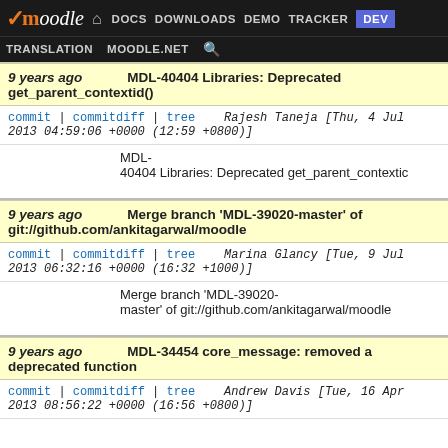moodle | DOCS | DOWNLOADS | DEMO | TRACKER | DEV | TRANSLATION | MOODLE.NET
9 years ago   MDL-40404 Libraries: Deprecated get_parent_contextid()
commit | commitdiff | tree   Rajesh Taneja [Thu, 4 Jul 2013 04:59:06 +0000 (12:59 +0800)]
MDL-40404 Libraries: Deprecated get_parent_contextid
9 years ago   Merge branch 'MDL-39020-master' of git://github.com/ankitagarwal/moodle
commit | commitdiff | tree   Marina Glancy [Tue, 9 Jul 2013 06:32:16 +0000 (16:32 +1000)]
Merge branch 'MDL-39020-master' of git://github.com/ankitagarwal/moodle
9 years ago   MDL-34454 core_message: removed a deprecated function
commit | commitdiff | tree   Andrew Davis [Tue, 16 Apr 2013 08:56:22 +0000 (16:56 +0800)]